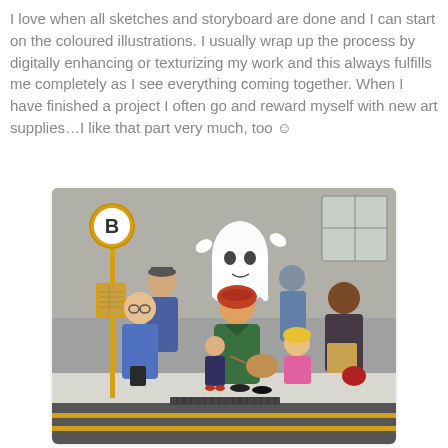I love when all sketches and storyboard are done and I can start on the coloured illustrations. I usually wrap up the process by digitally enhancing or texturizing my work and this always fulfills me completely as I see everything coming together. When I have finished a project I often go and reward myself with new art supplies…I like that part very much, too ☺
[Figure (illustration): A coloured children's book illustration showing a group of characters waiting at a bus stop. There is a yellow bus stop sign with letter B, a ghost figure, an old man with a hat, a woman in green with red hair and handbag, a small girl, a blonde child in pink, and a dark-skinned woman with bags. Background shows a grey building wall and a road.]